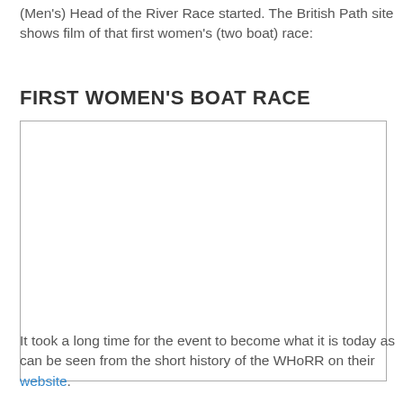(Men's) Head of the River Race started. The British Path site shows film of that first women's (two boat) race:
FIRST WOMEN'S BOAT RACE
[Figure (photo): A blank/empty image placeholder representing footage from the first women's boat race, shown as a white rectangle with a grey border.]
It took a long time for the event to become what it is today as can be seen from the short history of the WHoRR on their website.